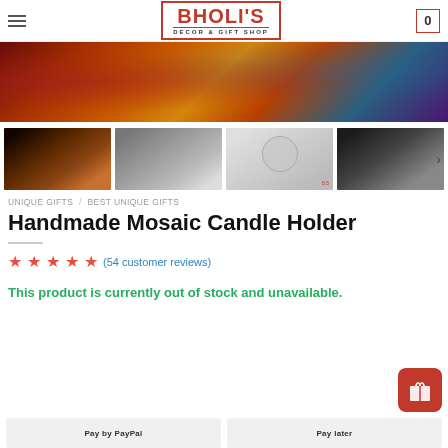BHOLI'S DECOR & GIFT SHOP
[Figure (photo): Hero banner showing colorful mosaic glass candle holders with ornate patterns in red, orange, gold, and blue]
[Figure (photo): Thumbnail 1: Collection of colorful mosaic candle holders on dark background with warm lighting]
[Figure (photo): Thumbnail 2: Close-up of silver/white mosaic candle holders]
[Figure (photo): Thumbnail 3: Dimension diagram of mosaic candle holder showing measurements]
[Figure (photo): Thumbnail 4: Group of mosaic candle holders with soft lighting]
UNIQUE GIFTS / BEST UNIQUE GIFTS
Handmade Mosaic Candle Holder
★★★★★ (54 customer reviews)
This product is currently out of stock and unavailable.